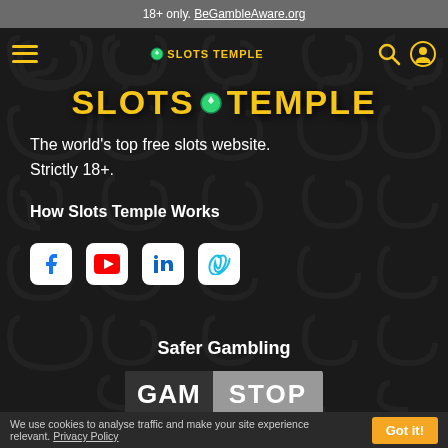18+ only. BeGambleAware.org
[Figure (screenshot): Slots Temple website header with hamburger menu, logo text 'SLOTS TEMPLE', search icon, and user icon on dark decorative background]
SLOTS TEMPLE
The world's top free slots website. Strictly 18+.
How Slots Temple Works
[Figure (infographic): Social media icons row: Facebook, YouTube, LinkedIn, Vimeo]
Safer Gambling
[Figure (logo): GamStop logo: dark square with 'GAM' in white bold and 'STOP' in white bold on grey background]
We use cookies to analyse traffic and make your site experience relevant. Privacy Policy  Got it!